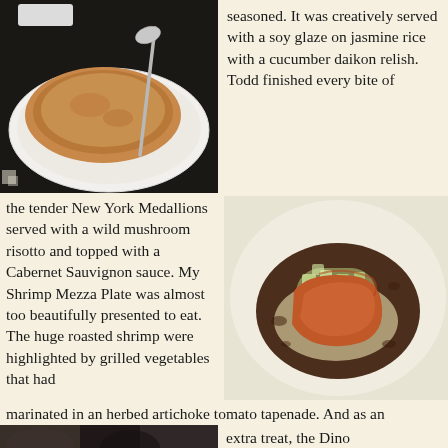[Figure (photo): A bowl of soup on a white plate with a spoon, viewed from above on a dark background]
seasoned. It was creatively served with a soy glaze on jasmine rice with a cucumber daikon relish. Todd finished every bite of
the tender New York Medallions served with a wild mushroom risotto and topped with a Cabernet Sauvignon sauce. My Shrimp Mezza Plate was almost too beautifully presented to eat. The huge roasted shrimp were highlighted by grilled vegetables that had marinated in an herbed artichoke tomato tapenade. And as an
[Figure (photo): A plated dish with a piece of seared salmon on jasmine rice with cucumber daikon relish in a dark sauce, viewed from above on a light plate]
marinated in an herbed artichoke tomato tapenade. And as an
[Figure (photo): A dark colored food photograph partially visible at the bottom of the page]
extra treat, the Dino